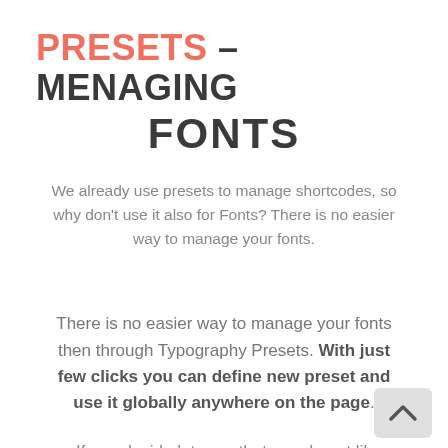PRESETS – MENAGING FONTS
We already use presets to manage shortcodes, so why don't use it also for Fonts? There is no easier way to manage your fonts.
There is no easier way to manage your fonts then through Typography Presets. With just few clicks you can define new preset and use it globally anywhere on the page.
If you decide later on that you do not like the font just edit the preset and every